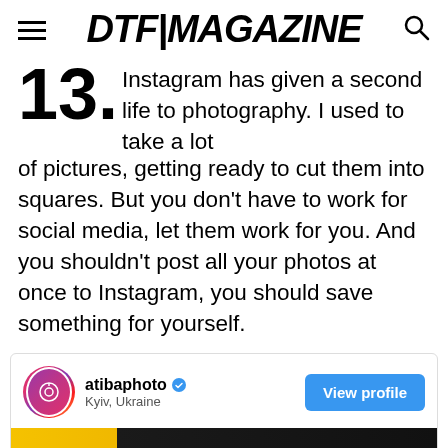DTF|MAGAZINE
13. Instagram has given a second life to photography. I used to take a lot of pictures, getting ready to cut them into squares. But you don't have to work for social media, let them work for you. And you shouldn't post all your photos at once to Instagram, you should save something for yourself.
[Figure (screenshot): Instagram profile card for atibaphoto, located in Kyiv, Ukraine, with a View profile button and a preview image strip at the bottom.]